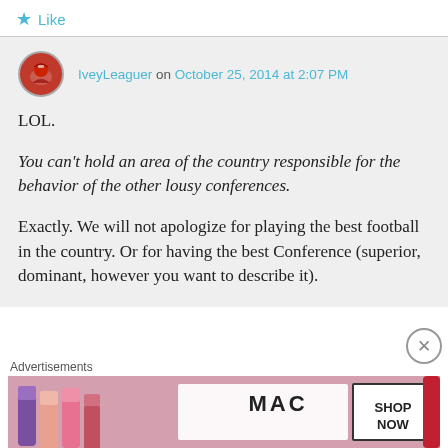★ Like
IveyLeaguer on October 25, 2014 at 2:07 PM
LOL.
You can't hold an area of the country responsible for the behavior of the other lousy conferences.
Exactly. We will not apologize for playing the best football in the country. Or for having the best Conference (superior, dominant, however you want to describe it).
Advertisements
[Figure (photo): MAC cosmetics advertisement showing lipsticks with SHOP NOW text]